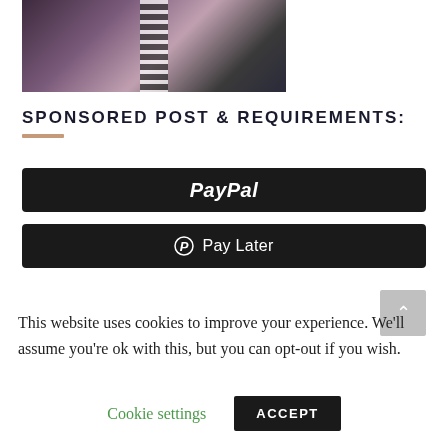[Figure (photo): Partial photo of a woman with long dark hair wearing a striped top and necklaces, cropped at shoulders/chest]
SPONSORED POST & REQUIREMENTS:
[Figure (other): PayPal dark button]
[Figure (other): Pay Later dark button with PayPal P logo]
This website uses cookies to improve your experience. We'll assume you're ok with this, but you can opt-out if you wish.
Cookie settings
ACCEPT